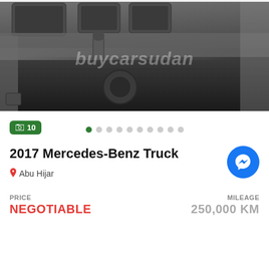[Figure (photo): Interior dashboard view of a Mercedes-Benz truck cab, showing steering column area, center console, gearshift, and floor. Watermark 'buycarsudan' visible across the image.]
10
2017 Mercedes-Benz Truck
Abu Hijar
PRICE
NEGOTIABLE
MILEAGE
250,000 KM